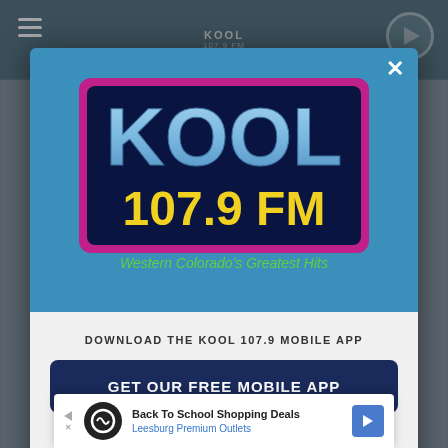[Figure (screenshot): KOOL 107.9 FM radio station website screenshot with mobile app download modal dialog overlay. The modal has a blue top section with the KOOL 107.9 FM logo and tagline 'Western Colorado's Greatest Hits', and a white bottom section with 'DOWNLOAD THE KOOL 107.9 MOBILE APP' text, a 'GET OUR FREE MOBILE APP' button, and 'Also listen on: amazon alexa' text. At the bottom is an advertisement for 'Back To School Shopping Deals - Leesburg Premium Outlets'.]